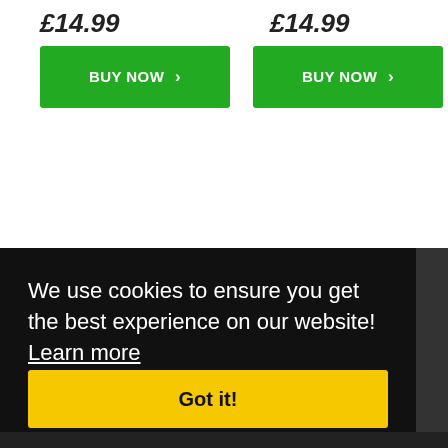£14.99
BUY NOW ›
£14.99
BUY NOW ›
We use cookies to ensure you get the best experience on our website!  Learn more
Got it!